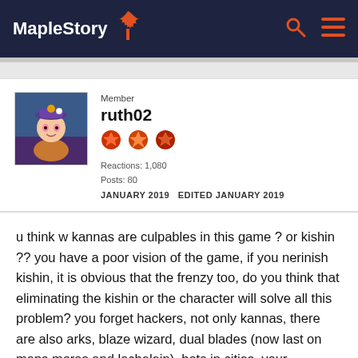MapleStory
Member
ruth02
Reactions: 1,080
Posts: 80
JANUARY 2019   EDITED JANUARY 2019
u think w kannas are culpables in this game ? or kishin ?? you have a poor vision of the game, if you nerinish kishin, it is obvious that the frenzy too, do you think that eliminating the kishin or the character will solve all this problem? you forget hackers, not only kannas, there are also arks, blaze wizard, dual blades (now last on maps moras and lachelein), bots in cities, your comment does not offer anything new, this problem comes from many years ago when the big bang started, the game has bugs and lag before kanna existed, nexon never fix this small details, over the years is unstable, look at the gameguard for